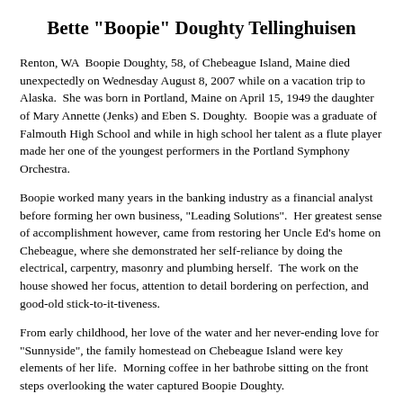Bette "Boopie" Doughty Tellinghuisen
Renton, WA  Boopie Doughty, 58, of Chebeague Island, Maine died unexpectedly on Wednesday August 8, 2007 while on a vacation trip to Alaska.  She was born in Portland, Maine on April 15, 1949 the daughter of Mary Annette (Jenks) and Eben S. Doughty.  Boopie was a graduate of Falmouth High School and while in high school her talent as a flute player made her one of the youngest performers in the Portland Symphony Orchestra.
Boopie worked many years in the banking industry as a financial analyst before forming her own business, "Leading Solutions".  Her greatest sense of accomplishment however, came from restoring her Uncle Ed's home on Chebeague, where she demonstrated her self-reliance by doing the electrical, carpentry, masonry and plumbing herself.  The work on the house showed her focus, attention to detail bordering on perfection, and good-old stick-to-it-tiveness.
From early childhood, her love of the water and her never-ending love for "Sunnyside", the family homestead on Chebeague Island were key elements of her life.  Morning coffee in her bathrobe sitting on the front steps overlooking the water captured Boopie Doughty.